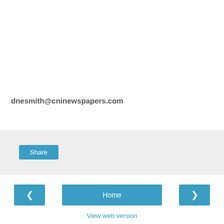dnesmith@cninewspapers.com
[Figure (other): Share section with gray background containing a Share button]
[Figure (other): Navigation row with left arrow button, Home button, and right arrow button]
View web version